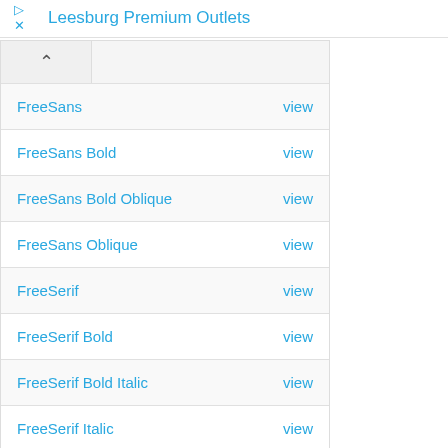Leesburg Premium Outlets
FreeSans  view
FreeSans Bold  view
FreeSans Bold Oblique  view
FreeSans Oblique  view
FreeSerif  view
FreeSerif Bold  view
FreeSerif Bold Italic  view
FreeSerif Italic  view
Gentium  view
Gentium Italic  view
GentiumAlt  view